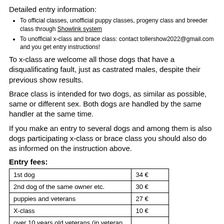Detailed entry information:
To official classes, unofficial puppy classes, progeny class and breeder class through Showlink system
To unofficial x-class and brace class: contact tollershow2022@gmail.com and you get entry instructions!
To x-class are welcome all those dogs that have a disqualificating fault, just as castrated males, despite their previous show results.
Brace class is intended for two dogs, as similar as possible, same or different sex. Both dogs are handled by the same handler at the same time.
If you make an entry to several dogs and among them is also dogs participating x-class or brace class you should also do as informed on the instruction above.
Entry fees:
|  |  |
| --- | --- |
| 1st dog | 34 € |
| 2nd dog of the same owner etc. | 30 € |
| puppies and veterans | 27 € |
| X-class | 10 € |
| over 10 years old veterans (in veteran or X-class) | free |